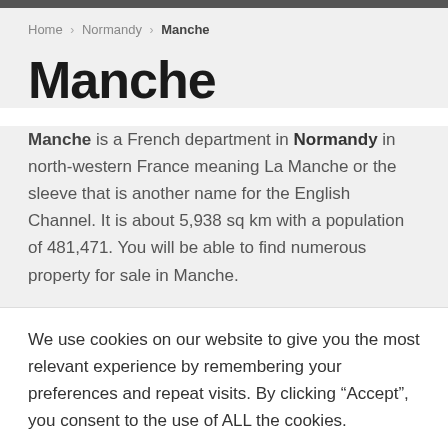Home > Normandy > Manche
Manche
Manche is a French department in Normandy in north-western France meaning La Manche or the sleeve that is another name for the English Channel. It is about 5,938 sq km with a population of 481,471. You will be able to find numerous property for sale in Manche.
We use cookies on our website to give you the most relevant experience by remembering your preferences and repeat visits. By clicking “Accept”, you consent to the use of ALL the cookies.